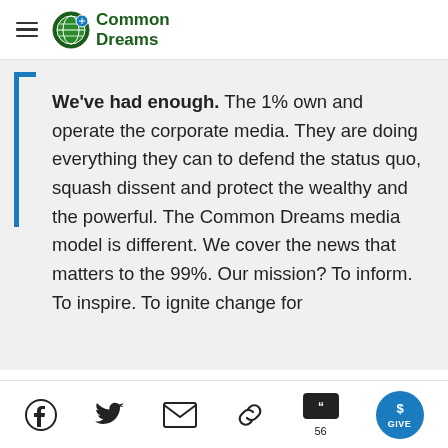Common Dreams
We've had enough. The 1% own and operate the corporate media. They are doing everything they can to defend the status quo, squash dissent and protect the wealthy and the powerful. The Common Dreams media model is different. We cover the news that matters to the 99%. Our mission? To inform. To inspire. To ignite change for
Social share icons: Facebook, Twitter, Email, Link, Comments (56), GIVE